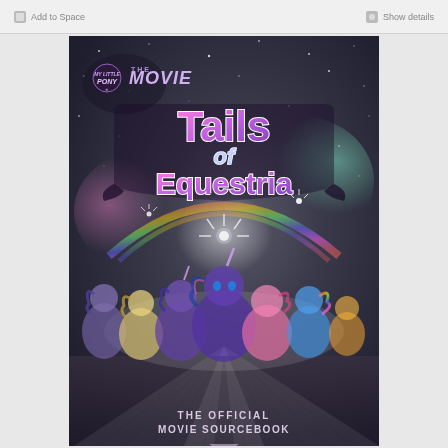Add to Space  |  Show details
[Figure (illustration): Book cover of My Little Pony The Movie: Tails of Equestria - The Official Movie Sourcebook. Dark space-themed background with colorful light bursts and ray beams. My Little Pony characters (Twilight Sparkle, Rainbow Dash, Pinkie Pie, Applejack, Rarity, Fluttershy and others) grouped together in the center. MLP The Movie logo in top left. 'Tails of Equestria' title in large decorated font center-top. Bottom text reads 'THE OFFICIAL MOVIE SOURCEBOOK'.]